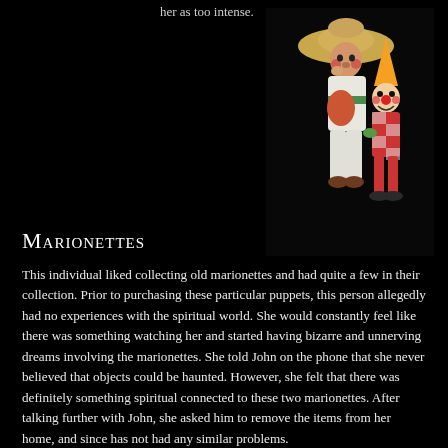her as too intense.
[Figure (photo): Two marionette puppets on a black background: a taller figure wearing a straw sombrero and white outfit with green and red accents, and a shorter clown figure in red checkered outfit with a cone hat.]
Marionettes
This individual liked collecting old marionettes and had quite a few in their collection. Prior to purchasing these particular puppets, this person allegedly had no experiences with the spiritual world. She would constantly feel like there was something watching her and started having bizarre and unnerving dreams involving the marionettes. She told John on the phone that she never believed that objects could be haunted. However, she felt that there was definitely something spiritual connected to these two marionettes. After talking further with John, she asked him to remove the items from her home, and since has not had any similar problems.